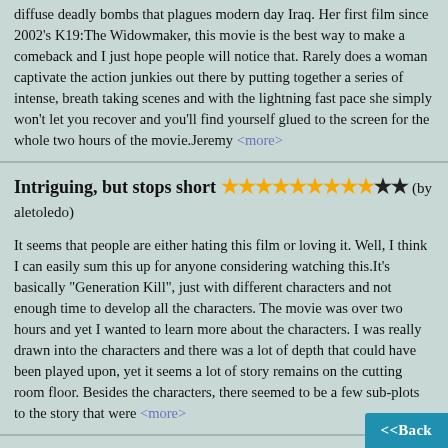diffuse deadly bombs that plagues modern day Iraq. Her first film since 2002's K19:The Widowmaker, this movie is the best way to make a comeback and I just hope people will notice that. Rarely does a woman captivate the action junkies out there by putting together a series of intense, breath taking scenes and with the lightning fast pace she simply won't let you recover and you'll find yourself glued to the screen for the whole two hours of the movie.Jeremy <more>
Intriguing, but stops short ★★★★★★★★★☆☆ (by aletoledo)
It seems that people are either hating this film or loving it. Well, I think I can easily sum this up for anyone considering watching this.It's basically "Generation Kill", just with different characters and not enough time to develop all the characters. The movie was over two hours and yet I wanted to learn more about the characters. I was really drawn into the characters and there was a lot of depth that could have been played upon, yet it seems a lot of story remains on the cutting room floor. Besides the characters, there seemed to be a few sub-plots to the story that were <more>
The Academy Got It Right ★★★★★★★★★☆☆ (by Theo Robertson)
THE HURT LOCKER is a film that only got a limited worldwide release but opened to unanimous praise from critics . Nine months after its release it was up against AVATAR at the Academy . . AVATAR's worldwide gross at the time of writing stands a